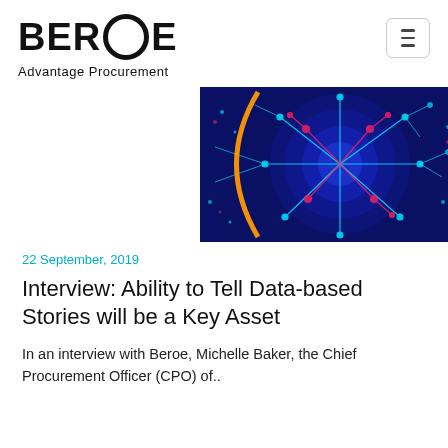BEROE Advantage Procurement
[Figure (illustration): Dark blue digital/technology abstract illustration featuring a glowing circuit-board pattern in a circular mandala-like shape with cyan, red, and orange neon highlights on a deep navy background.]
22 September, 2019
Interview: Ability to Tell Data-based Stories will be a Key Asset
In an interview with Beroe, Michelle Baker, the Chief Procurement Officer (CPO) of..